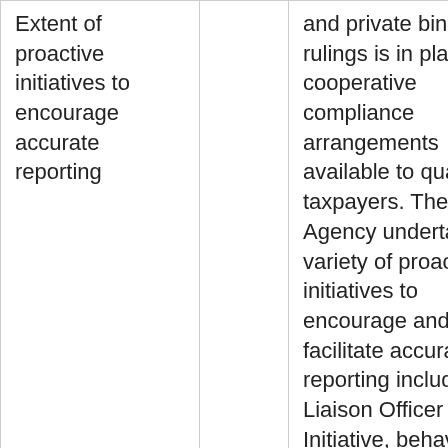| Extent of proactive initiatives to encourage accurate reporting |  | and private binding rulings is in place with cooperative compliance arrangements available to qualifying taxpayers. The Agency undertakes a variety of proactive initiatives to encourage and facilitate accurate reporting including the Liaison Officer Initiative, behavioural insight campaigns |